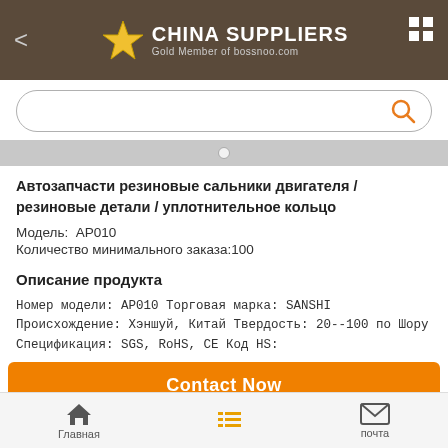CHINA SUPPLIERS Gold Member of bossnoo.com
[Figure (screenshot): Search bar with orange magnifying glass icon]
[Figure (screenshot): Gray slider strip with white dot indicator]
Автозапчасти резиновые сальники двигателя / резиновые детали / уплотнительное кольцо
Модель:  AP010
Количество минимального заказа:100
Описание продукта
Номер модели: AP010 Торговая марка: SANSHI Происхождение: Хэншуй, Китай Твердость: 20--100 по Шору Спецификация: SGS, RoHS, CE Код HS:
[Figure (screenshot): Orange Contact Now button]
Главная    почта